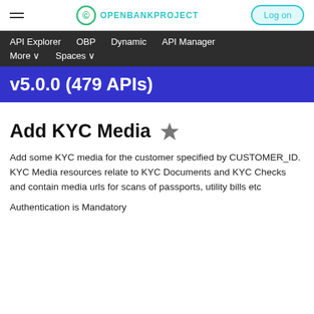≡  OPENBANKPROJECT  Log on
API Explorer   OBP   Dynamic   API Manager   More ∨   Spaces ∨
v5.0.0 (479 APIs)
Add KYC Media ★
Add some KYC media for the customer specified by CUSTOMER_ID. KYC Media resources relate to KYC Documents and KYC Checks and contain media urls for scans of passports, utility bills etc
Authentication is Mandatory